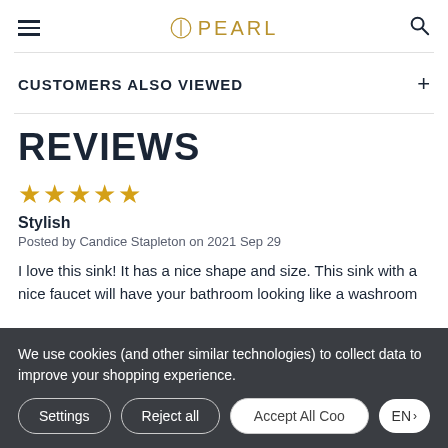Pearl
CUSTOMERS ALSO VIEWED
REVIEWS
★★★★★
Stylish
Posted by Candice Stapleton on 2021 Sep 29
I love this sink! It has a nice shape and size. This sink with a nice faucet will have your bathroom looking like a washroom
We use cookies (and other similar technologies) to collect data to improve your shopping experience.